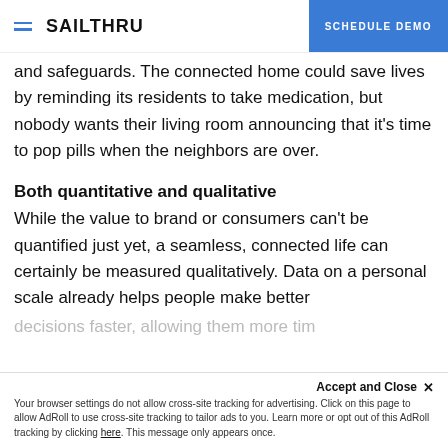SAILTHRU | SCHEDULE DEMO
and safeguards. The connected home could save lives by reminding its residents to take medication, but nobody wants their living room announcing that it's time to pop pills when the neighbors are over.
Both quantitative and qualitative
While the value to brand or consumers can't be quantified just yet, a seamless, connected life can certainly be measured qualitatively. Data on a personal scale already helps people make better decisions faster, allowing them more time
Accept and Close ×
Your browser settings do not allow cross-site tracking for advertising. Click on this page to allow AdRoll to use cross-site tracking to tailor ads to you. Learn more or opt out of this AdRoll tracking by clicking here. This message only appears once.